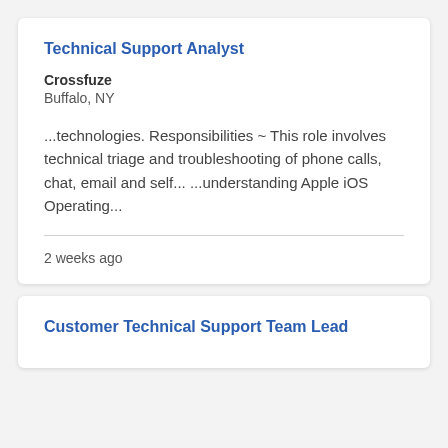Technical Support Analyst
Crossfuze
Buffalo, NY
...technologies. Responsibilities ~ This role involves technical triage and troubleshooting of phone calls, chat, email and self...  ...understanding Apple iOS Operating...
2 weeks ago
Customer Technical Support Team Lead